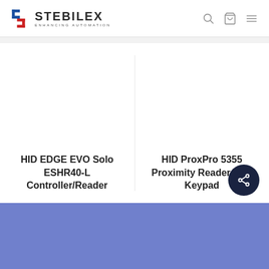[Figure (logo): Stebilex logo with stylized S icon in blue and red, text STEBILEX ENHANCING AUTOMATION]
[Figure (screenshot): Navigation icons: search, cart, hamburger menu]
HID EDGE EVO Solo ESHR40-L Controller/Reader
HID ProxPro 5355 Proximity Reader with Keypad
[Figure (illustration): Share button (dark circle with share icon)]
[Figure (illustration): Blue footer band]